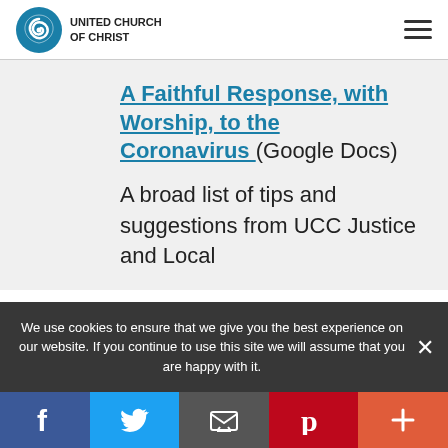United Church of Christ
A Faithful Response, with Worship, to the Coronavirus (Google Docs)
A broad list of tips and suggestions from UCC Justice and Local
We use cookies to ensure that we give you the best experience on our website. If you continue to use this site we will assume that you are happy with it.